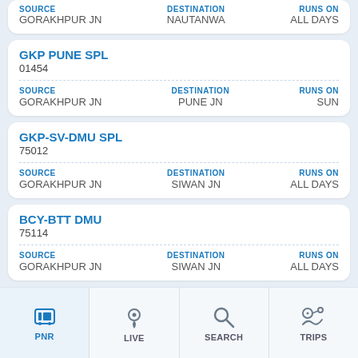SOURCE: GORAKHPUR JN | DESTINATION: NAUTANWA | RUNS ON: ALL DAYS
GKP PUNE SPL
01454
SOURCE: GORAKHPUR JN | DESTINATION: PUNE JN | RUNS ON: SUN
GKP-SV-DMU SPL
75012
SOURCE: GORAKHPUR JN | DESTINATION: SIWAN JN | RUNS ON: ALL DAYS
BCY-BTT DMU
75114
SOURCE: GORAKHPUR JN | DESTINATION: SIWAN JN | RUNS ON: ALL DAYS
DLI ... SPL
050...
SOURCE ... DESTINATION ...
PNR | LIVE | SEARCH | TRIPS